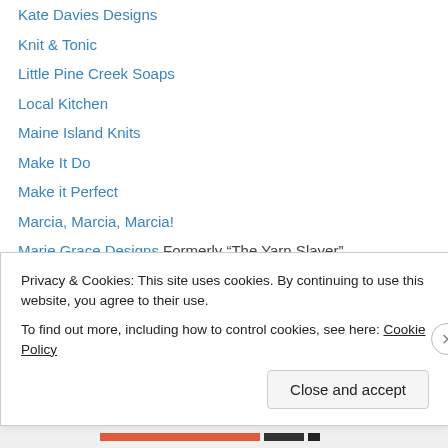Kate Davies Designs
Knit & Tonic
Little Pine Creek Soaps
Local Kitchen
Maine Island Knits
Make It Do
Make it Perfect
Marcia, Marcia, Marcia!
Marie Grace Designs Formerly “The Yarn Slayer”
Pat's Knitting & Quilting
Pea Soup
Posie Gets Cozy
Prairie Flower Farm
Prickly Pear Bl… (partially visible)
Privacy & Cookies: This site uses cookies. By continuing to use this website, you agree to their use.
To find out more, including how to control cookies, see here: Cookie Policy
Close and accept